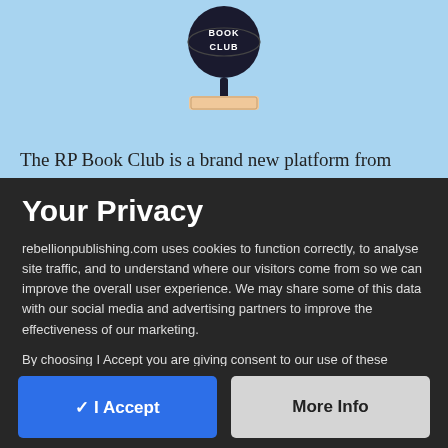[Figure (logo): RP Book Club logo — a globe with 'BOOK CLUB' text on a stand with a book base, dark silhouette on light blue background]
The RP Book Club is a brand new platform from
Your Privacy
rebellionpublishing.com uses cookies to function correctly, to analyse site traffic, and to understand where our visitors come from so we can improve the overall user experience. We may share some of this data with our social media and advertising partners to improve the effectiveness of our marketing.
By choosing I Accept you are giving consent to our use of these cookies.
✓ I Accept
More Info